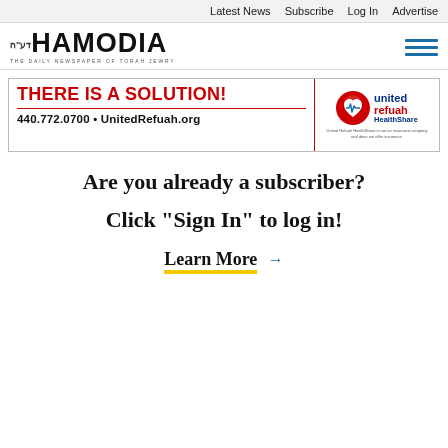Latest News  Subscribe  Log In  Advertise
[Figure (logo): Hamodia newspaper logo with Hebrew prefix and tagline 'The Daily Newspaper of Torah Jewry']
[Figure (infographic): United Refuah HealthShare advertisement banner. Red text: 'THERE IS A SOLUTION!' with phone 440.772.0700 and UnitedRefuah.org, alongside United Refuah HealthShare logo with disclaimer.]
Are you already a subscriber?
Click "Sign In" to log in!
Learn More →